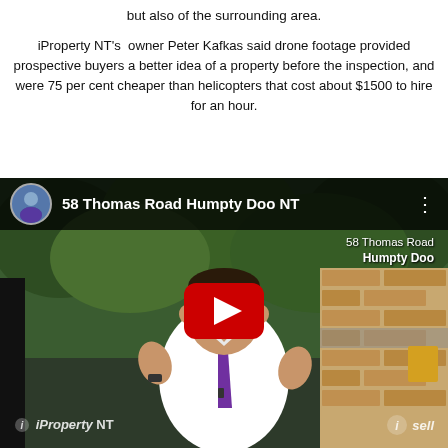but also of the surrounding area.
iProperty NT's owner Peter Kafkas said drone footage provided prospective buyers a better idea of a property before the inspection, and were 75 per cent cheaper than helicopters that cost about $1500 to hire for an hour.
[Figure (screenshot): YouTube video embed showing '58 Thomas Road Humpty Doo NT' with a man in a white shirt and purple tie presenting outdoors, with a red YouTube play button overlay, iProperty NT and iSell logos at the bottom.]